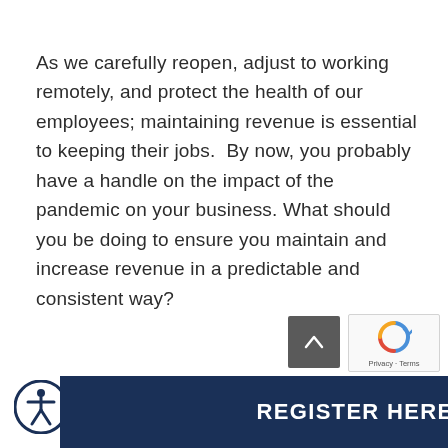As we carefully reopen, adjust to working remotely, and protect the health of our employees; maintaining revenue is essential to keeping their jobs.  By now, you probably have a handle on the impact of the pandemic on your business. What should you be doing to ensure you maintain and increase revenue in a predictable and consistent way?
[Figure (other): Dark navy blue registration bar at the bottom with an accessibility icon (circle with a person figure) on the left and bold white text 'REGISTER HERE' centered.]